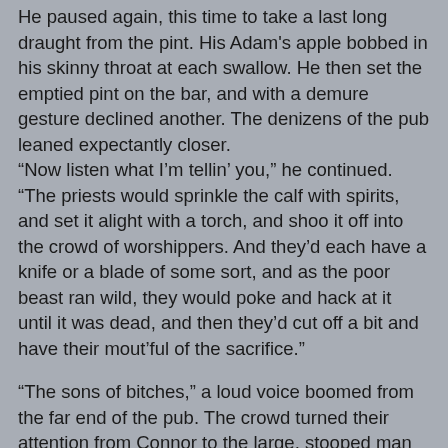He paused again, this time to take a last long draught from the pint. His Adam's apple bobbed in his skinny throat at each swallow. He then set the emptied pint on the bar, and with a demure gesture declined another. The denizens of the pub leaned expectantly closer. “Now listen what I’m tellin’ you,” he continued. “The priests would sprinkle the calf with spirits, and set it alight with a torch, and shoo it off into the crowd of worshippers. And they’d each have a knife or a blade of some sort, and as the poor beast ran wild, they would poke and hack at it until it was dead, and then they’d cut off a bit and have their mout’ful of the sacrifice.”
“The sons of bitches,” a loud voice boomed from the far end of the pub. The crowd turned their attention from Connor to the large, stooped man seated at a table by himself. Before him were a handful of dead soldiers: five empty whiskey glasses. “The sons of bitches,” he intoned again. Suddenly aware that he had drawn the attention of the crowded pub, he raised his reddened eyes to gaze on them with a mixture of accusation and appeal.
“The priest would…” (continues below)